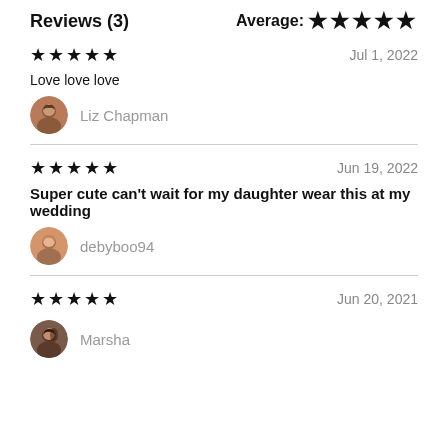Reviews (3)
Average: ★★★★★
★★★★★  Jul 1, 2022
Love love love
Liz Chapman
★★★★★  Jun 19, 2022
Super cute can't wait for my daughter wear this at my wedding
debyboo94
★★★★★  Jun 20, 2021
Marsha